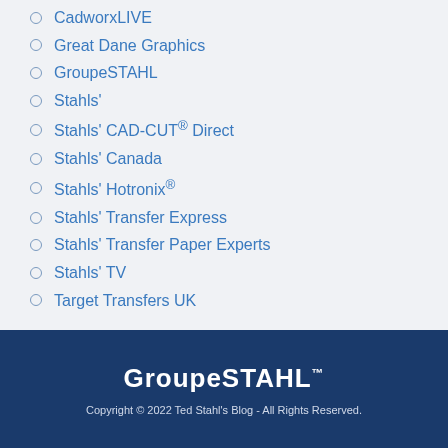CadworxLIVE
Great Dane Graphics
GroupeSTAHL
Stahls'
Stahls' CAD-CUT® Direct
Stahls' Canada
Stahls' Hotronix®
Stahls' Transfer Express
Stahls' Transfer Paper Experts
Stahls' TV
Target Transfers UK
GroupeSTAHL™
Copyright © 2022 Ted Stahl's Blog - All Rights Reserved.